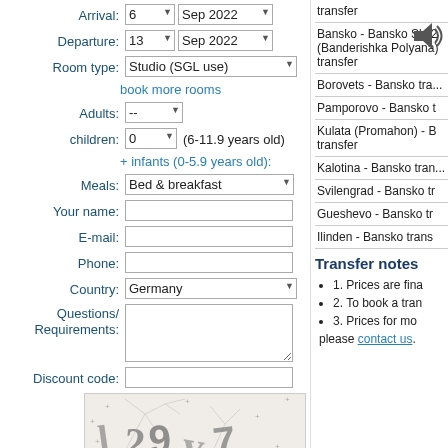Arrival: 6 Sep 2022
Departure: 13 Sep 2022
Room type: Studio (SGL use)
book more rooms
Adults: --
children: 0 (6-11.9 years old)
+ infants (0-5.9 years old):
Meals: Bed & breakfast
Your name:
E-mail:
Phone:
Country: Germany
Questions/ Requirements:
Discount code:
[Figure (other): CAPTCHA image with distorted text characters and tree background, with a speaker/audio icon]
transfer
Bansko - Bansko Ski 2 (Banderishka Polyana) transfer
Borovets - Bansko transfer
Pamporovo - Bansko t
Kulata (Promahon) - B transfer
Kalotina - Bansko transfer
Svilengrad - Bansko transfer
Gueshevo - Bansko transfer
Ilinden - Bansko transfer
Transfer notes
1. Prices are final...
2. To book a transfer...
3. Prices for more...
please contact us.